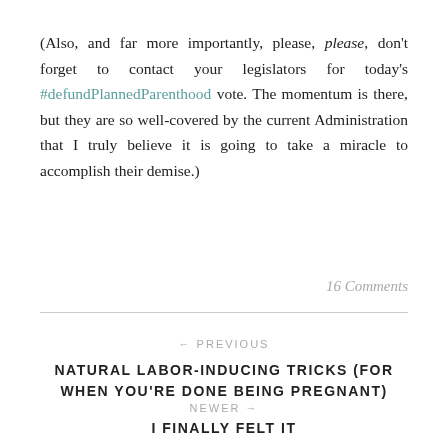(Also, and far more importantly, please, please, don't forget to contact your legislators for today's #defundPlannedParenthood vote. The momentum is there, but they are so well-covered by the current Administration that I truly believe it is going to take a miracle to accomplish their demise.)
16 Comments
← PREVIOUS
NATURAL LABOR-INDUCING TRICKS (FOR WHEN YOU'RE DONE BEING PREGNANT)
NEWER →
I FINALLY FELT IT